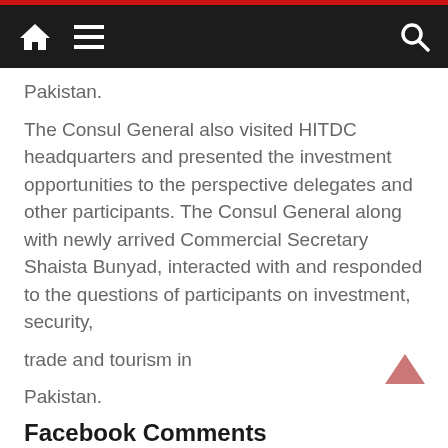Navigation bar with home, menu, and search icons
Pakistan.
The Consul General also visited HITDC headquarters and presented the investment opportunities to the perspective delegates and other participants. The Consul General along with newly arrived Commercial Secretary Shaista Bunyad, interacted with and responded to the questions of participants on investment, security,
trade and tourism in
Pakistan.
Facebook Comments